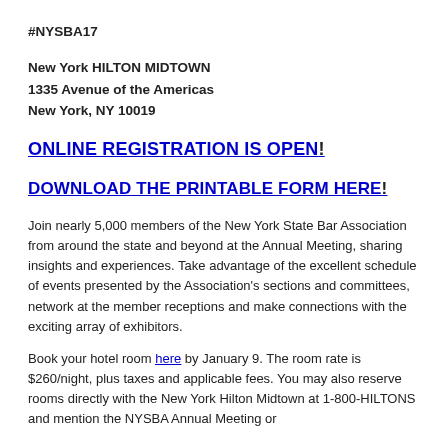#NYSBA17
New York HILTON MIDTOWN
1335 Avenue of the Americas
New York, NY 10019
ONLINE REGISTRATION IS OPEN!
DOWNLOAD THE PRINTABLE FORM HERE!
Join nearly 5,000 members of the New York State Bar Association from around the state and beyond at the Annual Meeting, sharing insights and experiences. Take advantage of the excellent schedule of events presented by the Association's sections and committees, network at the member receptions and make connections with the exciting array of exhibitors.
Book your hotel room here by January 9. The room rate is $260/night, plus taxes and applicable fees. You may also reserve rooms directly with the New York Hilton Midtown at 1-800-HILTONS and mention the NYSBA Annual Meeting or